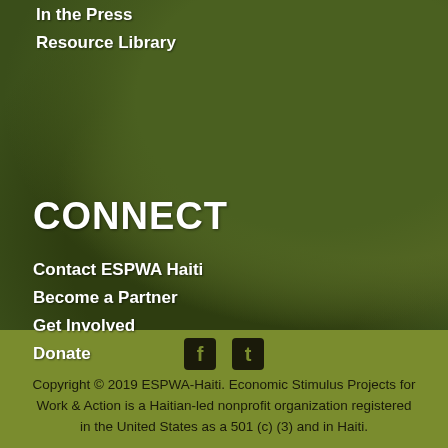In the Press
Resource Library
CONNECT
Contact ESPWA Haiti
Become a Partner
Get Involved
Donate
[Figure (illustration): Social media icons: Facebook (f) and Tumblr (t) in dark color on olive green background]
Copyright © 2019 ESPWA-Haiti. Economic Stimulus Projects for Work & Action is a Haitian-led nonprofit organization registered in the United States as a 501 (c) (3) and in Haiti.